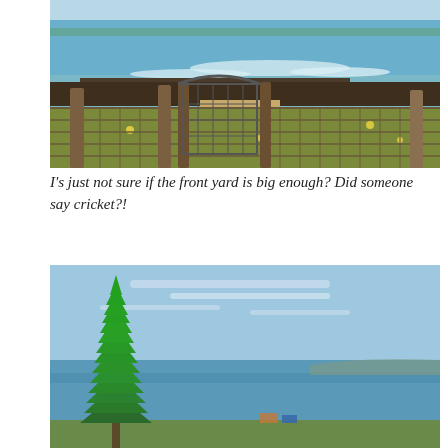[Figure (photo): Coastal beach scene viewed through/over a wire fence with wooden posts. A gate made of old metal wire opens toward a sandy beach path. Turquoise ocean water with white surf in the background, and a distant shoreline with trees. Foreground shows grassy, weedy vegetation with yellow flowers behind the fence.]
I's just not sure if the front yard is big enough? Did someone say cricket?!
[Figure (photo): Coastal ocean view with a large Norfolk pine tree on the left foreground. Blue sky with light clouds, calm blue ocean water extending to a low headland in the distance. Some structures/people visible at the water's edge.]